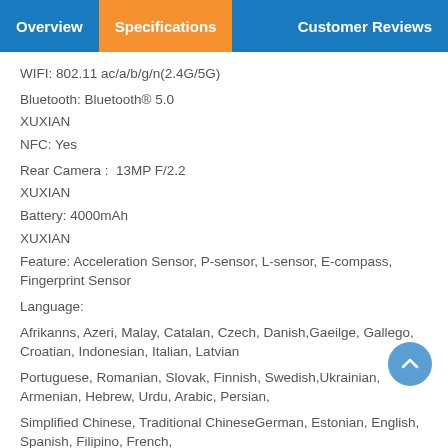Overview | Specifications | Customer Reviews
WIFI: 802.11 ac/a/b/g/n(2.4G/5G)
Bluetooth: Bluetooth® 5.0
XUXIAN
NFC: Yes
Rear Camera :  13MP F/2.2
XUXIAN
Battery: 4000mAh
XUXIAN
Feature: Acceleration Sensor, P-sensor, L-sensor, E-compass, Fingerprint Sensor
Language:
Afrikanns, Azeri, Malay, Catalan, Czech, Danish,Gaeilge, Gallego, Croatian, Indonesian, Italian, Latvian
Portuguese, Romanian, Slovak, Finnish, Swedish,Ukrainian, Armenian, Hebrew, Urdu, Arabic, Persian,
Simplified Chinese, Traditional ChineseGerman, Estonian, English, Spanish, Filipino, French,
Lithuanian, Hungarian, Dutch, Norwegian, Polish,Vietnamese, Turkish, Greek